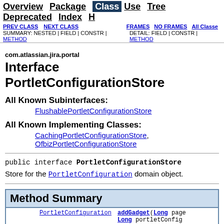Overview  Package  Class  Use  Tree  Deprecated  Index  H
PREV CLASS  NEXT CLASS  FRAMES  NO FRAMES  All Classes
SUMMARY: NESTED | FIELD | CONSTR | METHOD  DETAIL: FIELD | CONSTR | METHOD
com.atlassian.jira.portal
Interface PortletConfigurationStore
All Known Subinterfaces:
FlushablePortletConfigurationStore
All Known Implementing Classes:
CachingPortletConfigurationStore, OfbizPortletConfigurationStore
public interface PortletConfigurationStore
Store for the PortletConfiguration domain object.
|  | Method Summary |
| --- | --- |
| PortletConfiguration | addGadget(Long page
Long portletConfig |